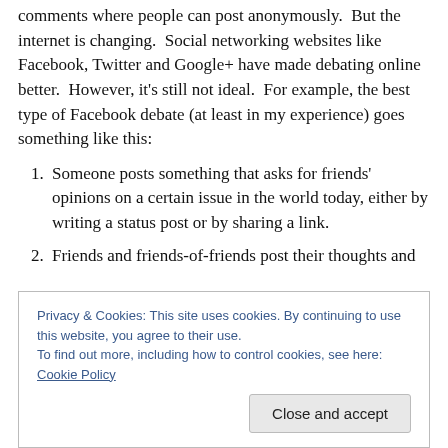comments where people can post anonymously. But the internet is changing. Social networking websites like Facebook, Twitter and Google+ have made debating online better. However, it's still not ideal. For example, the best type of Facebook debate (at least in my experience) goes something like this:
1. Someone posts something that asks for friends' opinions on a certain issue in the world today, either by writing a status post or by sharing a link.
2. Friends and friends-of-friends post their thoughts and
Privacy & Cookies: This site uses cookies. By continuing to use this website, you agree to their use. To find out more, including how to control cookies, see here: Cookie Policy